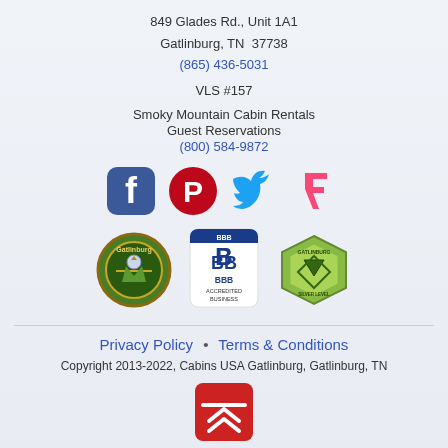849 Glades Rd., Unit 1A1
Gatlinburg, TN  37738
(865) 436-5031
VLS #157
Smoky Mountain Cabin Rentals
Guest Reservations
(800) 584-9872
[Figure (logo): Social media icons: Facebook, Pinterest, Twitter, Foursquare]
[Figure (logo): Three badges: Gatlinburg Tourism logo, BBB Accredited Business seal, Gatlinburg Green Silver Level logo]
Privacy Policy • Terms & Conditions
Copyright 2013-2022, Cabins USA Gatlinburg, Gatlinburg, TN
[Figure (other): Red scroll-to-top button with chevron arrows]